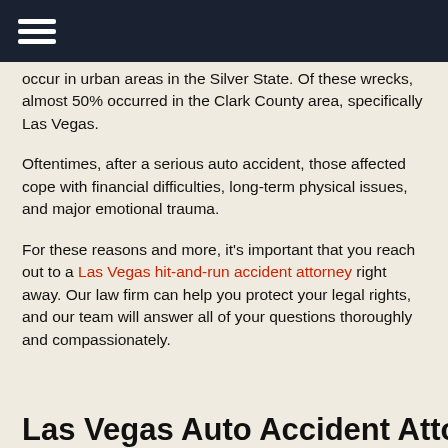[hamburger menu icon]
occur in urban areas in the Silver State. Of these wrecks, almost 50% occurred in the Clark County area, specifically Las Vegas.
Oftentimes, after a serious auto accident, those affected cope with financial difficulties, long-term physical issues, and major emotional trauma.
For these reasons and more, it’s important that you reach out to a Las Vegas hit-and-run accident attorney right away. Our law firm can help you protect your legal rights, and our team will answer all of your questions thoroughly and compassionately.
Las Vegas Auto Accident Attorne…